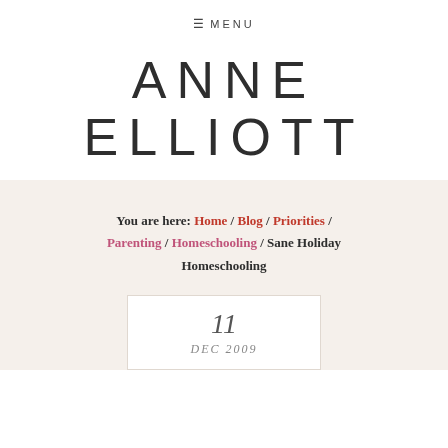≡ MENU
ANNE ELLIOTT
You are here: Home / Blog / Priorities / Parenting / Homeschooling / Sane Holiday Homeschooling
11 DEC 2009